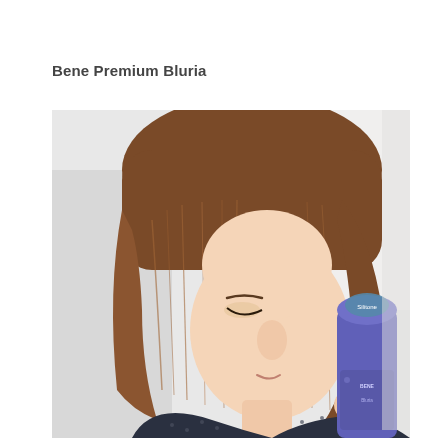Bene Premium Bluria
[Figure (photo): A woman with medium-length brown hair looking down at a purple bottle of Bene Premium Bluria hair product, wearing a dark patterned blouse. The photo is taken against a light background.]